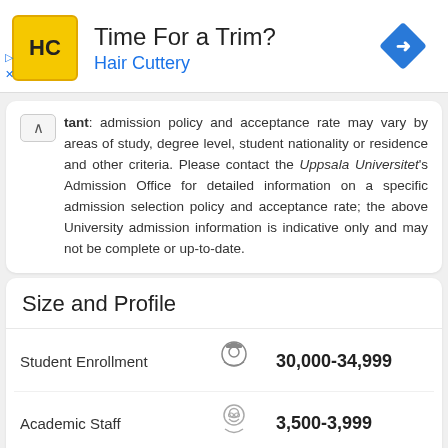[Figure (logo): Hair Cuttery advertisement banner with HC logo, 'Time For a Trim?' heading, 'Hair Cuttery' subheading in blue, and a blue diamond navigation icon]
Important: admission policy and acceptance rate may vary by areas of study, degree level, student nationality or residence and other criteria. Please contact the Uppsala Universitet's Admission Office for detailed information on a specific admission selection policy and acceptance rate; the above University admission information is indicative only and may not be complete or up-to-date.
Size and Profile
| Category | Icon | Value |
| --- | --- | --- |
| Student Enrollment | [student icon] | 30,000-34,999 |
| Academic Staff | [staff icon] | 3,500-3,999 |
| Control Type | [building icon] | Public |